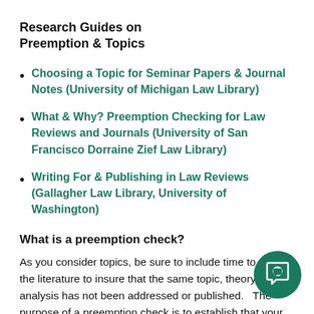Research Guides on Preemption & Topics
Choosing a Topic for Seminar Papers & Journal Notes (University of Michigan Law Library)
What & Why? Preemption Checking for Law Reviews and Journals (University of San Francisco Dorraine Zief Law Library)
Writing For & Publishing in Law Reviews (Gallagher Law Library, University of Washington)
What is a preemption check?
As you consider topics, be sure to include time to survey the literature to insure that the same topic, theory and analysis has not been addressed or published.   The purpose of a preemption check is to establish that your article, comment, or note is original — and it will add to the